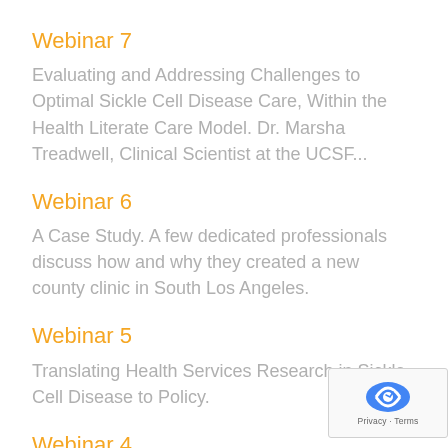Webinar 7
Evaluating and Addressing Challenges to Optimal Sickle Cell Disease Care, Within the Health Literate Care Model. Dr. Marsha Treadwell, Clinical Scientist at the UCSF...
Webinar 6
A Case Study. A few dedicated professionals discuss how and why they created a new county clinic in South Los Angeles.
Webinar 5
Translating Health Services Research in Sickle Cell Disease to Policy.
Webinar 4
Enhancing Access to care for Sickle Cell